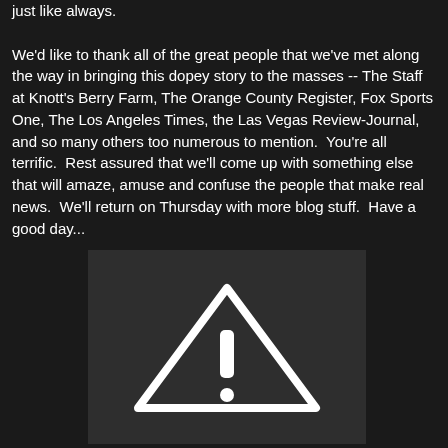just like always.

We'd like to thank all of the great people that we've met along the way in bringing this dopey story to the masses -- The Staff at Knott's Berry Farm, The Orange County Register, Fox Sports One, The Los Angeles Times, the Las Vegas Review-Journal, and so many others too numerous to mention.  You're all terrific.  Rest assured that we'll come up with something else that will amaze, amuse and confuse the people that make real news.  We'll return on Thursday with more blog stuff.  Have a good day...
[Figure (illustration): Dark gray rectangle containing a white warning triangle (caution sign) with a white exclamation mark inside it, centered in the image area.]